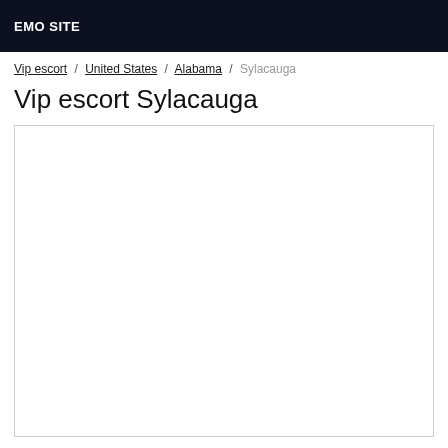EMO SITE
Vip escort / United States / Alabama / Sylacauga
Vip escort Sylacauga
[Figure (other): Empty white content box with border]